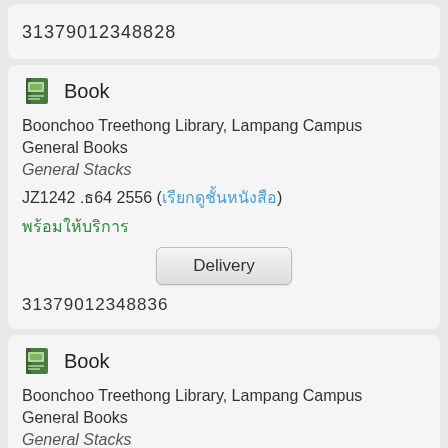31379012348828
Book
Boonchoo Treethong Library, Lampang Campus
General Books
General Stacks
JZ1242 .ธ64 2556 (เรียกดูชั้นหนังสือ)
พร้อมให้บริการ
Delivery
31379012348836
Book
Boonchoo Treethong Library, Lampang Campus
General Books
General Stacks
JZ1242 .ธ64 2556 (เรียกดูชั้นหนังสือ)